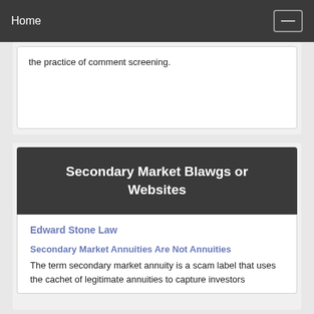Home
the practice of comment screening.
Secondary Market Blawgs or Websites
Edward Stone Law
Secondary Market Annuities Are Not Annuities
The term secondary market annuity is a scam label that uses the cachet of legitimate annuities to capture investors